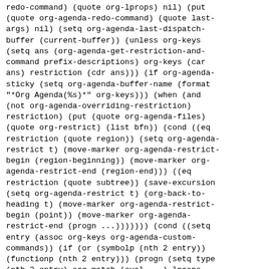redo-command) (quote org-lprops) nil) (put (quote org-agenda-redo-command) (quote last-args) nil) (setq org-agenda-last-dispatch-buffer (current-buffer)) (unless org-keys (setq ans (org-agenda-get-restriction-and-command prefix-descriptions) org-keys (car ans) restriction (cdr ans))) (if org-agenda-sticky (setq org-agenda-buffer-name (format "*Org Agenda(%s)*" org-keys))) (when (and (not org-agenda-overriding-restriction) restriction) (put (quote org-agenda-files) (quote org-restrict) (list bfn)) (cond ((eq restriction (quote region)) (setq org-agenda-restrict t) (move-marker org-agenda-restrict-begin (region-beginning)) (move-marker org-agenda-restrict-end (region-end))) ((eq restriction (quote subtree)) (save-excursion (setq org-agenda-restrict t) (org-back-to-heading t) (move-marker org-agenda-restrict-begin (point)) (move-marker org-agenda-restrict-end (progn ...))))))) (cond ((setq entry (assoc org-keys org-agenda-custom-commands)) (if (or (symbolp (nth 2 entry)) (functionp (nth 2 entry))) (progn (setq type (nth 2 entry) org-match (eval ...) lprops (nth 4 entry)) (if org-agenda-sticky (setq org-agenda-buffer-name ...)) (put (quote org-agenda-redo-command) (quote org-lprops) lprops) (cond (... ...) (... ...) (... ...) (... ...) (... ...) (... ...) (... ...) (...